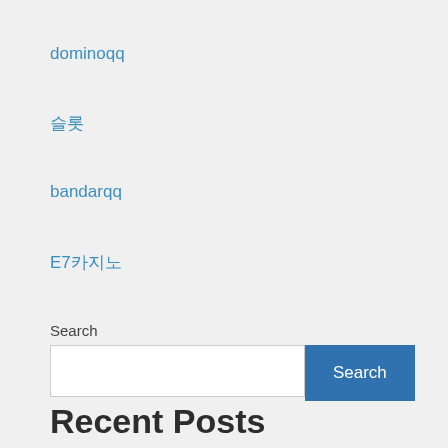dominoqq
슬롯
bandarqq
E7카지노
Search
Recent Posts